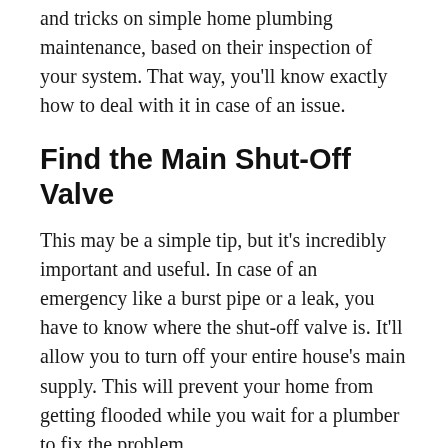The plumber will also be able to give you some tips and tricks on simple home plumbing maintenance, based on their inspection of your system. That way, you'll know exactly how to deal with it in case of an issue.
Find the Main Shut-Off Valve
This may be a simple tip, but it's incredibly important and useful. In case of an emergency like a burst pipe or a leak, you have to know where the shut-off valve is. It'll allow you to turn off your entire house's main supply. This will prevent your home from getting flooded while you wait for a plumber to fix the problem.
The main-shut off valve can usually be found in the basement, in a crawl space under your house, or near the water heater. To shut it off, you simply have to turn it clockwise. But, the location and how to operate it can also vary from house to house. So, it's best to